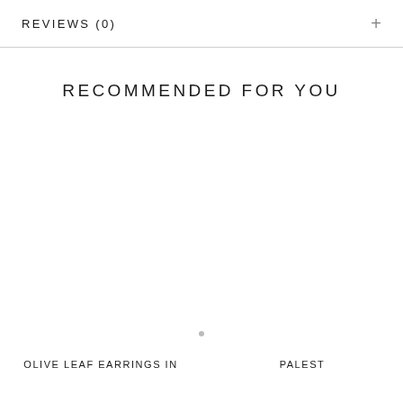REVIEWS (0)
RECOMMENDED FOR YOU
OLIVE LEAF EARRINGS IN
PALEST